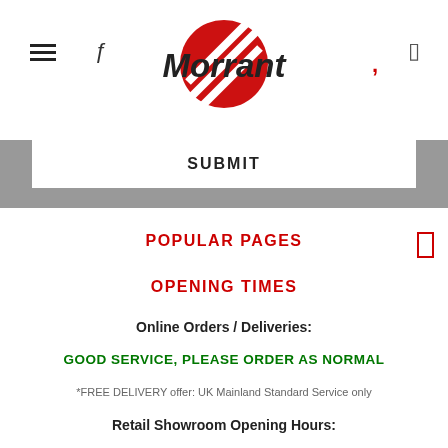Morrant — navigation header with hamburger menu, search, logo, and user icons
SUBMIT
POPULAR PAGES
OPENING TIMES
Online Orders / Deliveries:
GOOD SERVICE, PLEASE ORDER AS NORMAL
*FREE DELIVERY offer: UK Mainland Standard Service only
Retail Showroom Opening Hours:
Mondays: CLICK & COLLECT ONLY